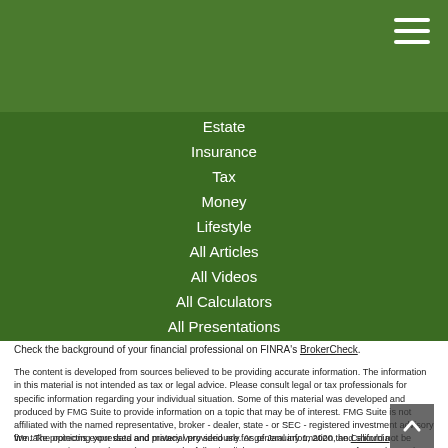Estate
Insurance
Tax
Money
Lifestyle
All Articles
All Videos
All Calculators
All Presentations
Check the background of your financial professional on FINRA's BrokerCheck.
The content is developed from sources believed to be providing accurate information. The information in this material is not intended as tax or legal advice. Please consult legal or tax professionals for specific information regarding your individual situation. Some of this material was developed and produced by FMG Suite to provide information on a topic that may be of interest. FMG Suite is not affiliated with the named representative, broker - dealer, state - or SEC - registered investment advisory firm. The opinions expressed and material provided are for general information, and should not be considered a solicitation for the purchase or sale of any security.
We take protecting your data and privacy very seriously. As of January 1, 2020 the California Consumer Privacy Act (CCPA) suggests the following link as an extra measure to safeguard your data: Do not sell my personal information.